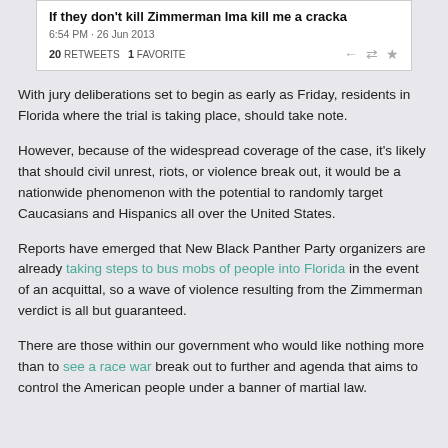[Figure (screenshot): Screenshot of a tweet reading 'If they don't kill Zimmerman Ima kill me a cracka', posted at 6:54 PM - 26 Jun 2013, with 20 RETWEETS and 1 FAVORITE]
With jury deliberations set to begin as early as Friday, residents in Florida where the trial is taking place, should take note.
However, because of the widespread coverage of the case, it's likely that should civil unrest, riots, or violence break out, it would be a nationwide phenomenon with the potential to randomly target Caucasians and Hispanics all over the United States.
Reports have emerged that New Black Panther Party organizers are already taking steps to bus mobs of people into Florida in the event of an acquittal, so a wave of violence resulting from the Zimmerman verdict is all but guaranteed.
There are those within our government who would like nothing more than to see a race war break out to further and agenda that aims to control the American people under a banner of martial law.